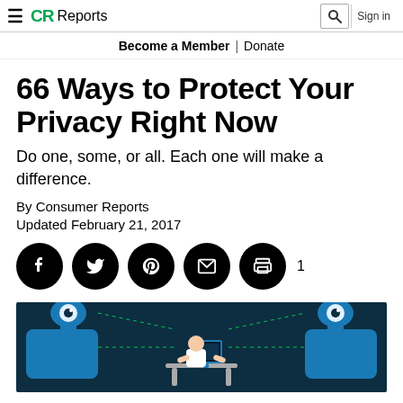CR Reports | Sign in
Become a Member | Donate
66 Ways to Protect Your Privacy Right Now
Do one, some, or all. Each one will make a difference.
By Consumer Reports
Updated February 21, 2017
[Figure (infographic): Social share icons row: Facebook, Twitter, Pinterest, Email, Print, with count 1]
[Figure (illustration): Dark teal background illustration of a person working at a computer, flanked by two monster-like camera devices with dashed green connecting lines, representing privacy surveillance threats.]